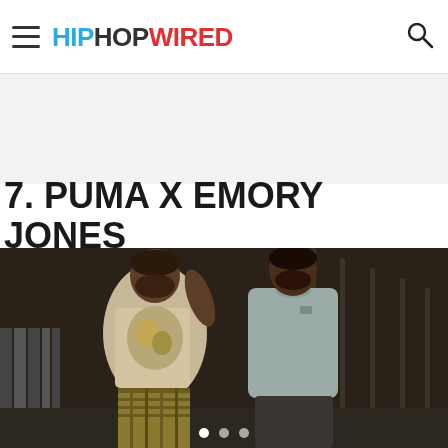HipHopWired — navigation header with hamburger menu and search icon
7. PUMA X EMORY JONES
[Figure (photo): Two men standing on a stairway landing. Left man wears a graphic printed t-shirt and plaid shorts; right man wears a plain gray t-shirt. Dark ambient indoor lighting. Three slider navigation dots visible at the bottom center.]